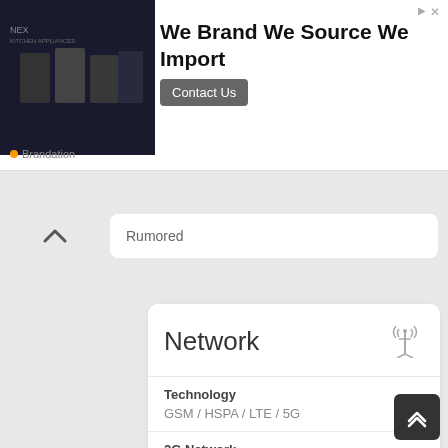[Figure (other): Advertisement banner: We Brand We Source We Import - Brandation, with Contact Us button]
Rumored
Network
| Property | Value |
| --- | --- |
| Technology | GSM / HSPA / LTE / 5G |
| 2G Network | GSM 850 / 900 / 1800 / 1900 - SIM 1 & SIM 2 |
| 3G Network | HSDPA 850 / 900 / 1700(AWS) / 1900 / 2100 |